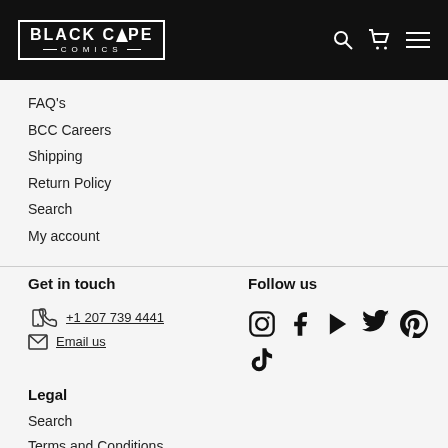BLACK CAPE COMICS — navigation header with search, cart, and menu icons
FAQ's
BCC Careers
Shipping
Return Policy
Search
My account
Get in touch
+1 207 739 4441
Email us
Follow us
[Figure (illustration): Social media icons: Instagram, Facebook, YouTube, Twitter, Pinterest, TikTok]
Legal
Search
Terms and Conditions
Terms of Service
Refund policy